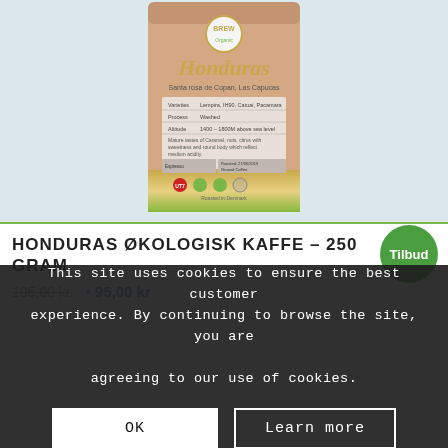[Figure (photo): Coffee bag product photo showing Honduras Organic coffee bag from Brew, with label details: Santa rosa de Copan, Las Capucas, Varieties: Lempira, IHCAFE 90, Catuai, Pacamara, Process: Washed, Altitude: 1400-1800m above sea level, flavour notes about Caramel, nuts, citrus with sweetness and round body reflecting medium acidity. Roasted in Denmark.]
HONDURAS ØKOLOGISK KAFFE – 250 GRAM
105,00 kr. • 95,00 kr
Tilbud
This site uses cookies to ensure the best customer experience. By continuing to browse the site, you are agreeing to our use of cookies.
OK
Learn more